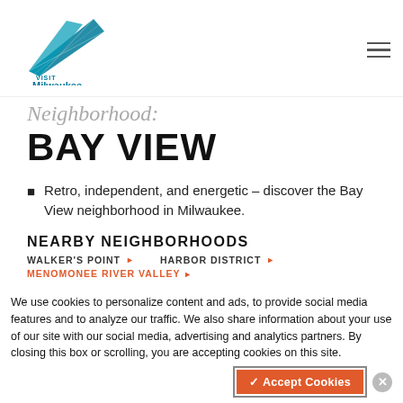Visit Milwaukee
Neighborhood:
BAY VIEW
Retro, independent, and energetic – discover the Bay View neighborhood in Milwaukee.
NEARBY NEIGHBORHOODS
WALKER'S POINT ▶ HARBOR DISTRICT ▶
MENOMONEE RIVER VALLEY ▶
We use cookies to personalize content and ads, to provide social media features and to analyze our traffic. We also share information about your use of our site with our social media, advertising and analytics partners. By closing this box or scrolling, you are accepting cookies on this site.
✓ Accept Cookies